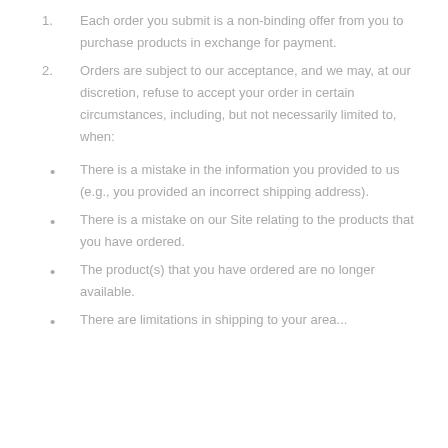Each order you submit is a non-binding offer from you to purchase products in exchange for payment.
Orders are subject to our acceptance, and we may, at our discretion, refuse to accept your order in certain circumstances, including, but not necessarily limited to, when:
There is a mistake in the information you provided to us (e.g., you provided an incorrect shipping address).
There is a mistake on our Site relating to the products that you have ordered.
The product(s) that you have ordered are no longer available.
There are limitations in shipping to your area...